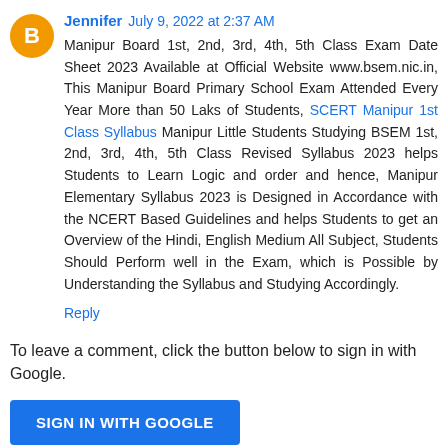Jennifer  July 9, 2022 at 2:37 AM
Manipur Board 1st, 2nd, 3rd, 4th, 5th Class Exam Date Sheet 2023 Available at Official Website www.bsem.nic.in, This Manipur Board Primary School Exam Attended Every Year More than 50 Laks of Students, SCERT Manipur 1st Class Syllabus Manipur Little Students Studying BSEM 1st, 2nd, 3rd, 4th, 5th Class Revised Syllabus 2023 helps Students to Learn Logic and order and hence, Manipur Elementary Syllabus 2023 is Designed in Accordance with the NCERT Based Guidelines and helps Students to get an Overview of the Hindi, English Medium All Subject, Students Should Perform well in the Exam, which is Possible by Understanding the Syllabus and Studying Accordingly.
Reply
To leave a comment, click the button below to sign in with Google.
SIGN IN WITH GOOGLE